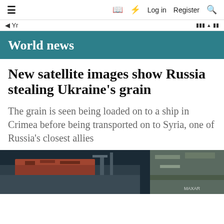≡   □  ⚡  Log in  Register  🔍
◄ Yr
World news
New satellite images show Russia stealing Ukraine's grain
The grain is seen being loaded on to a ship in Crimea before being transported on to Syria, one of Russia's closest allies
[Figure (photo): Satellite aerial image showing a ship at a port in Crimea being loaded with grain, with MAXAR watermark visible]